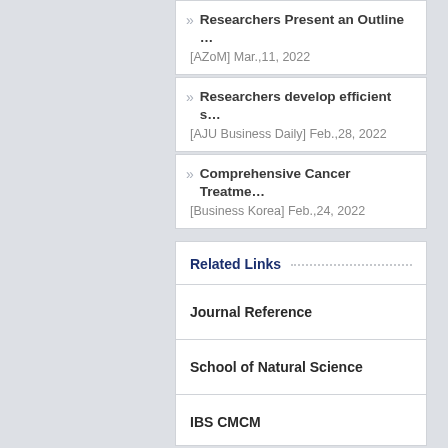Researchers Present an Outline … [AZoM] Mar.,11, 2022
Researchers develop efficient s… [AJU Business Daily] Feb.,28, 2022
Comprehensive Cancer Treatme… [Business Korea] Feb.,24, 2022
Related Links
Journal Reference
School of Natural Science
IBS CMCM